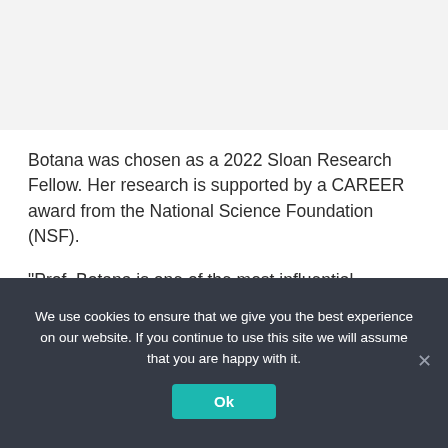Botana was chosen as a 2022 Sloan Research Fellow. Her research is supported by a CAREER award from the National Science Foundation (NSF).
“Prof. Botana is one of the most influential theorists in the field of unconventional superconductivity, particularly in layered nickelates that have received tremendous attention from the
We use cookies to ensure that we give you the best experience on our website. If you continue to use this site we will assume that you are happy with it.